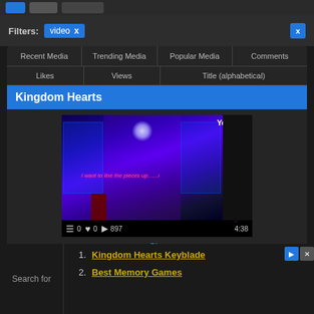Filters: video x
| Recent Media | Trending Media | Popular Media | Comments |
| --- | --- | --- | --- |
| Likes | Views | Title (alphabetical) |  |
Kingdom Hearts
[Figure (screenshot): YouTube video thumbnail showing an animated scene with purple/blue lighting in a corridor. A cartoon character stands in the scene. Text reads 'I want to line the pieces up....'. Sky watermark visible. Controls show: 0 comments, 0 likes, 397 plays, 4:38 duration.]
Sky
1. Kingdom Hearts Keyblade
Search for
2. Best Memory Games